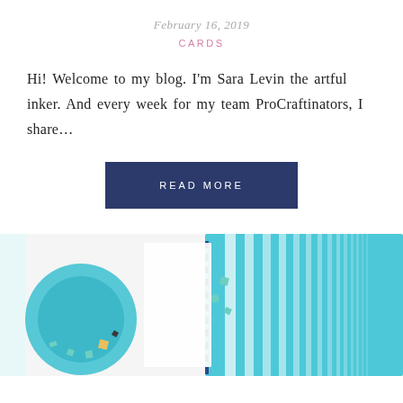February 16, 2019
CARDS
Hi! Welcome to my blog. I'm Sara Levin the artful inker. And every week for my team ProCraftinators, I share...
READ MORE
[Figure (photo): Close-up photograph of handmade greeting cards with teal/blue watercolor and geometric patterns]